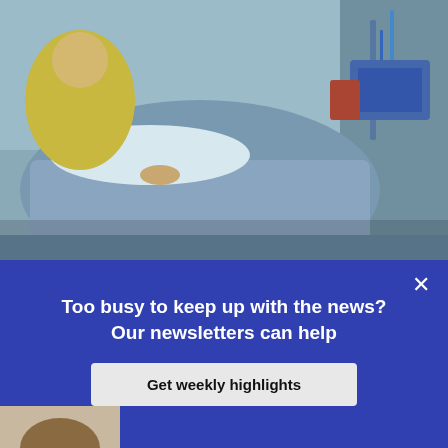[Figure (photo): Hospital scene showing a patient in a hospital bed with medical equipment and a caregiver in yellow garment nearby]
Canada's premiers are missing a real chance to fix our ailing health-care system
[Figure (photo): Woman holding a hairbrush and looking distressed, with hair loss visible]
Four strange COVID symptoms you might not have heard about
Too busy to keep up with the news? Our newsletters can help
Get weekly highlights